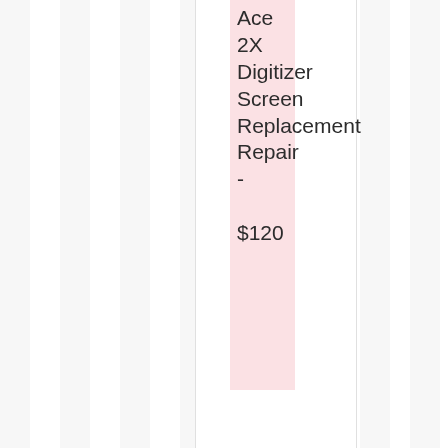Ace 2X Digitizer Screen Replacement Repair - $120
[Figure (logo): Samsung brand logo with blue upward arrow shape containing 'Sa' and 'M' text in white on dark blue background]
Mega LCD Screen Replacement Repair - $110